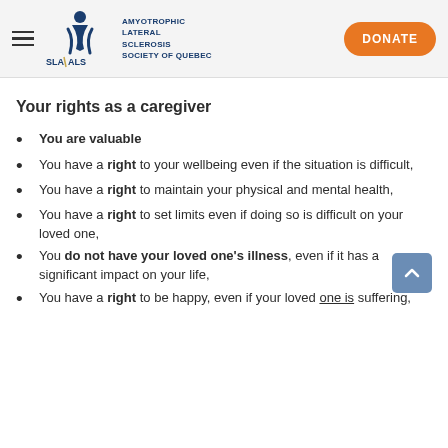SLA ALS — Amyotrophic Lateral Sclerosis Society of Quebec | DONATE
Your rights as a caregiver
You are valuable
You have a right to your wellbeing even if the situation is difficult,
You have a right to maintain your physical and mental health,
You have a right to set limits even if doing so is difficult on your loved one,
You do not have your loved one's illness, even if it has a significant impact on your life,
You have a right to be happy, even if your loved one is suffering,